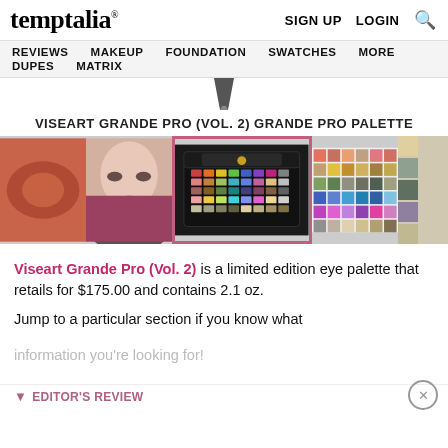temptalia® | SIGN UP  LOGIN  🔍
REVIEWS  MAKEUP  FOUNDATION  SWATCHES  MORE  DUPES  MATRIX
VISEART GRANDE PRO (VOL. 2) GRANDE PRO PALETTE
[Figure (photo): Product image gallery strip showing: eyeshadow close-up, model wearing makeup, palette (selected/highlighted in pink border), swatch grid, partial swatch image]
Viseart Grande Pro (Vol. 2) is a limited edition eye palette that retails for $175.00 and contains 2.1 oz.
Jump to a particular section if you know what information you're looking for!
EDITOR'S REVIEW